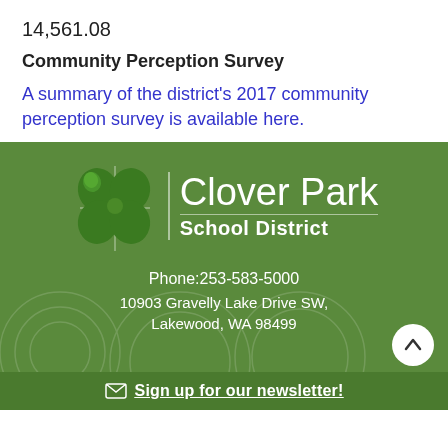14,561.08
Community Perception Survey
A summary of the district's 2017 community perception survey is available here.
[Figure (logo): Clover Park School District logo with green four-leaf clover and white text on green background]
Phone:253-583-5000
10903 Gravelly Lake Drive SW, Lakewood, WA 98499
Sign up for our newsletter!